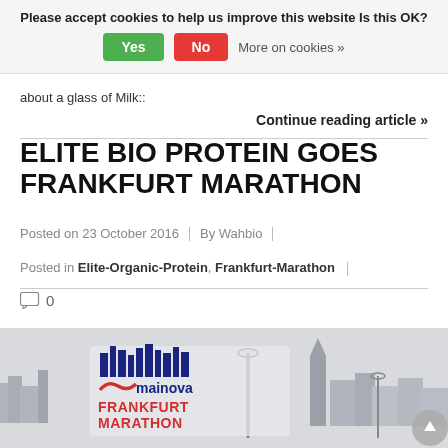Please accept cookies to help us improve this website Is this OK?
Yes   No   More on cookies »
about a glass of Milk::
Continue reading article »
ELITE BIO PROTEIN GOES FRANKFURT MARATHON
Posted on 23 October 2016  |  By Wahbio  |
Posted in Elite-Organic-Protein, Frankfurt-Marathon
0
[Figure (photo): Mainova Frankfurt Marathon logo with Frankfurt city skyline in the background showing a church tower and city buildings in overcast weather.]